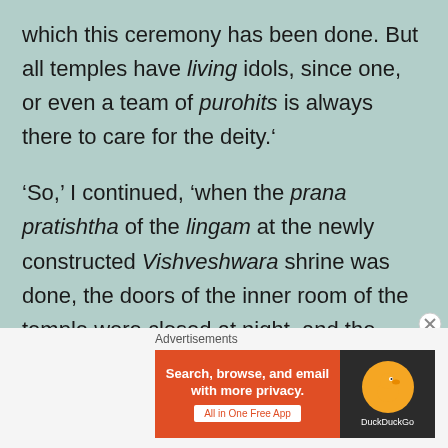which this ceremony has been done. But all temples have living idols, since one, or even a team of purohits is always there to care for the deity.'
'So,' I continued, 'when the prana pratishtha of the lingam at the newly constructed Vishveshwara shrine was done, the doors of the inner room of the temple were closed at night, and the deity was put to sleep. Next morning when the doors were opened to wake
Advertisements
[Figure (other): DuckDuckGo advertisement banner: orange left panel with text 'Search, browse, and email with more privacy. All in One Free App' and dark right panel with DuckDuckGo duck logo]